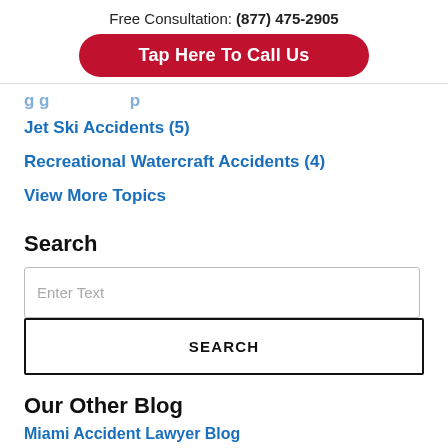Free Consultation: (877) 475-2905
Tap Here To Call Us
Jet Ski Accidents (5)
Recreational Watercraft Accidents (4)
View More Topics
Search
Enter Text
SEARCH
Our Other Blog
Miami Accident Lawyer Blog